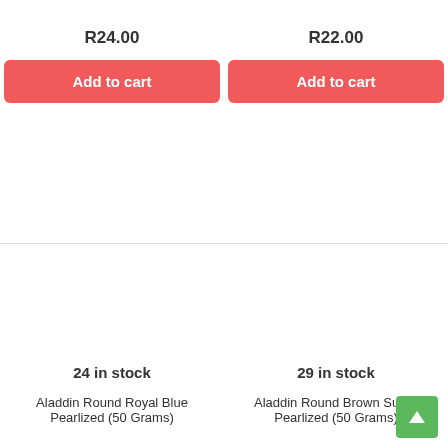R24.00
Add to cart
R22.00
Add to cart
24 in stock
Aladdin Round Royal Blue Pearlized (50 Grams)
29 in stock
Aladdin Round Brown Sugar Pearlized (50 Grams)